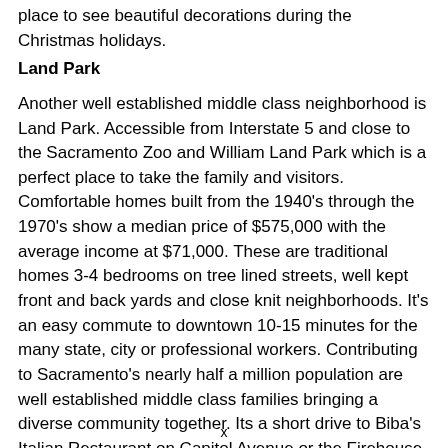place to see beautiful decorations during the Christmas holidays.
Land Park
Another well established middle class neighborhood is Land Park. Accessible from Interstate 5 and close to the Sacramento Zoo and William Land Park which is a perfect place to take the family and visitors. Comfortable homes built from the 1940's through the 1970's show a median price of $575,000 with the average income at $71,000. These are traditional homes 3-4 bedrooms on tree lined streets, well kept front and back yards and close knit neighborhoods. It's an easy commute to downtown 10-15 minutes for the many state, city or professional workers. Contributing to Sacramento's nearly half a million population are well established middle class families bringing a diverse community together. Its a short drive to Biba's Italian Restaurant on Capitol Avenue or the Firehouse Steakhouse in Old Sacramento. One of the iconic and most popular establishments is the Freeport Bakery known for its delectable desserts, breads and treats, a must visit for anyone or
x